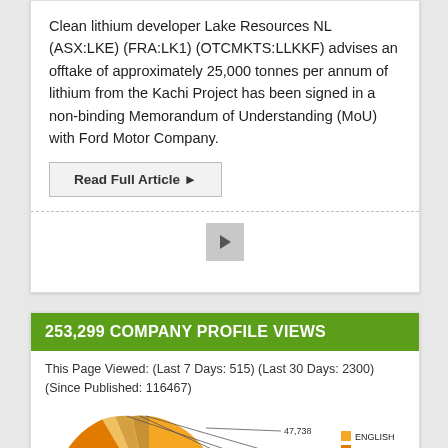Clean lithium developer Lake Resources NL (ASX:LKE) (FRA:LK1) (OTCMKTS:LLKKF) advises an offtake of approximately 25,000 tonnes per annum of lithium from the Kachi Project has been signed in a non-binding Memorandum of Understanding (MoU) with Ford Motor Company.
Read Full Article ▶
[Figure (other): Play button icon]
253,299 COMPANY PROFILE VIEWS
This Page Viewed: (Last 7 Days: 515) (Last 30 Days: 2300) (Since Published: 116467)
[Figure (pie-chart): Company Profile Views by Language]